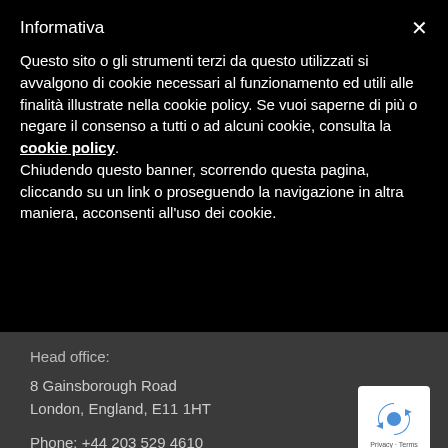Informativa
Questo sito o gli strumenti terzi da questo utilizzati si avvalgono di cookie necessari al funzionamento ed utili alle finalità illustrate nella cookie policy. Se vuoi saperne di più o negare il consenso a tutti o ad alcuni cookie, consulta la cookie policy. Chiudendo questo banner, scorrendo questa pagina, cliccando su un link o proseguendo la navigazione in altra maniera, acconsenti all'uso dei cookie.
Head office:
8 Gainsborough Road
London, England, E11 1HT
Phone: +44 203 529 4610
info@wabbainternational.com
[Figure (logo): reCAPTCHA badge with recycling arrows icon and Privacy - Terms text]
Privacy Policy